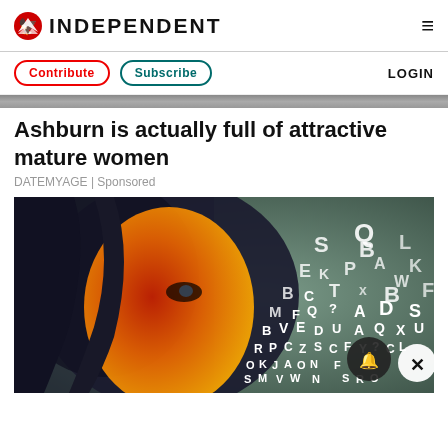INDEPENDENT
Contribute  Subscribe  LOGIN
Ashburn is actually full of attractive mature women
DATEMYAGE | Sponsored
[Figure (photo): Stylized photo of a woman with colorful red and orange lighting on her face, with scattered letters/alphabet characters floating in the background on a teal/green background. Notification bell icon and close (X) button overlaid in bottom right.]